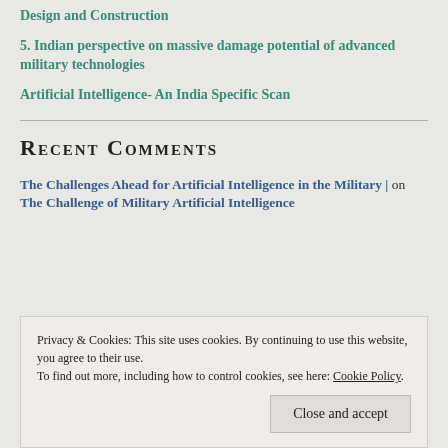Design and Construction
5. Indian perspective on massive damage potential of advanced military technologies
Artificial Intelligence- An India Specific Scan
Recent Comments
The Challenges Ahead for Artificial Intelligence in the Military | on The Challenge of Military Artificial Intelligence
Privacy & Cookies: This site uses cookies. By continuing to use this website, you agree to their use.
To find out more, including how to control cookies, see here: Cookie Policy.
Close and accept